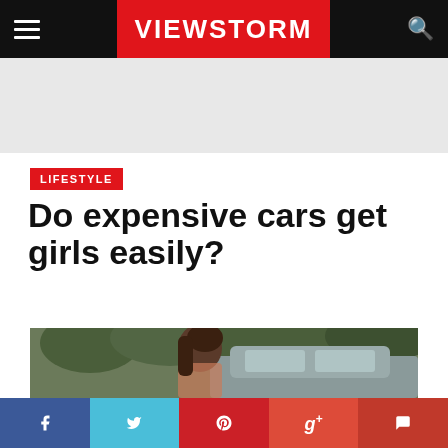VIEWSTORM
[Figure (photo): Advertisement banner placeholder, light grey background]
LIFESTYLE
Do expensive cars get girls easily?
[Figure (photo): Photo of a young woman with dark hair leaning on a car, green trees in background]